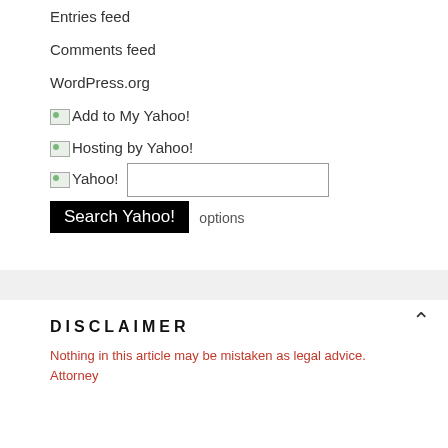Entries feed
Comments feed
WordPress.org
[img] Add to My Yahoo!
[img] Hosting by Yahoo!
[img] Yahoo! [search input] Search Yahoo! options
DISCLAIMER
Nothing in this article may be mistaken as legal advice. Attorney